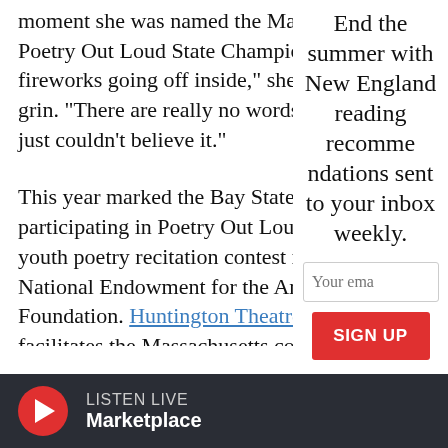moment she was named the Massachusetts Poetry Out Loud State Champion. "It fireworks going off inside," she says w grin. "There are really no words to de just couldn't believe it."
This year marked the Bay State's 15th participating in Poetry Out Loud, a n youth poetry recitation contest run b National Endowment for the Arts an Foundation. Huntington Theatre Co facilitates the Massachusetts contest largest in the nation, in partnership Massachusetts Cultural Council. Aft
End the summer with New England reading recommendations sent to your inbox weekly.
Your email
SIGN UP
LISTEN LIVE Marketplace